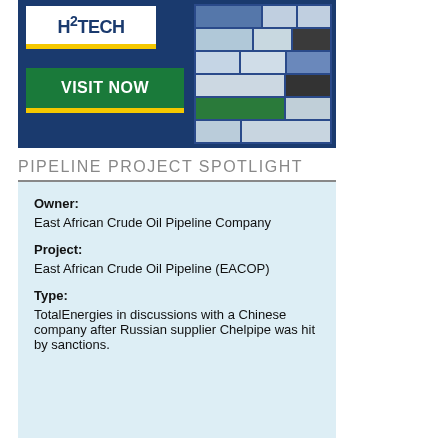[Figure (illustration): H2Tech website advertisement banner with dark blue background, H2Tech logo in white box top left, yellow bar, green 'VISIT NOW' button, yellow bar below it, and tablet/device mockup showing website content on the right side.]
PIPELINE PROJECT SPOTLIGHT
Owner:
East African Crude Oil Pipeline Company

Project:
East African Crude Oil Pipeline (EACOP)

Type:
TotalEnergies in discussions with a Chinese company after Russian supplier Chelpipe was hit by sanctions.